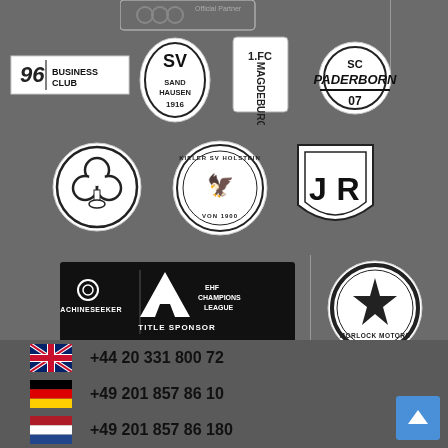[Figure (logo): Partial top row logos: Olympic rings area and Official Partner badge]
[Figure (logo): 96 Business Club logo]
[Figure (logo): SV Sandhausen 1916 club badge]
[Figure (logo): 1.FC Magdeburg club badge]
[Figure (logo): SC Paderborn 07 club badge]
[Figure (logo): SpVgg Greuther Fürth (clover) club badge]
[Figure (logo): Kieler SV Holstein von 1900 club badge]
[Figure (logo): Jahn Regensburg club badge]
[Figure (logo): Machineseeker EHF Champions League Title Sponsor banner]
[Figure (logo): Morlock Motors logo]
+44 20 331 800 72
+49 201 857 86 10
+49 201 857 86 180